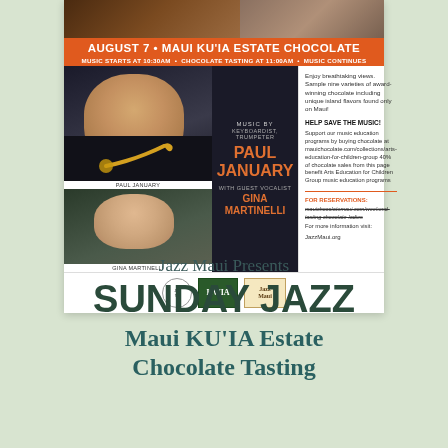[Figure (photo): Event flyer for Jazz Maui Sunday Jazz at Maui KU'IA Estate Chocolate. Top strip has two photo thumbnails. Orange header reads AUGUST 7 • MAUI KU'IA ESTATE CHOCOLATE with schedule below. Left side has photo of Paul January holding trumpet and photo of Gina Martinelli. Center dark panel shows Music By Keyboardist, Trumpeter PAUL JANUARY with Guest Vocalist GINA MARTINELLI. Right column has event description, HELP SAVE THE MUSIC call to action, reservation info, and logos.]
Jazz Maui Presents
SUNDAY JAZZ
Maui KU'IA Estate Chocolate Tasting